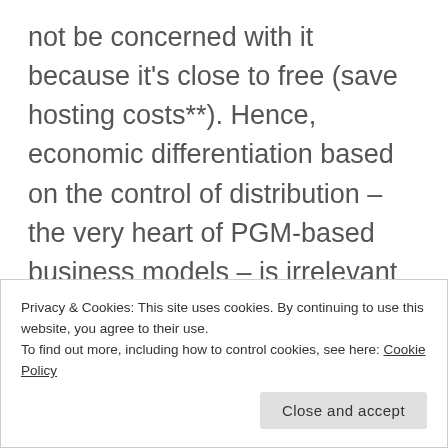not be concerned with it because it's close to free (save hosting costs**). Hence, economic differentiation based on the control of distribution – the very heart of PGM-based business models – is irrelevant in CM-based services. They key in CM is to create a killer platform, not to control distribution. PGM products, on the other hand, are driven by distribution, and their
Privacy & Cookies: This site uses cookies. By continuing to use this website, you agree to their use.
To find out more, including how to control cookies, see here: Cookie Policy